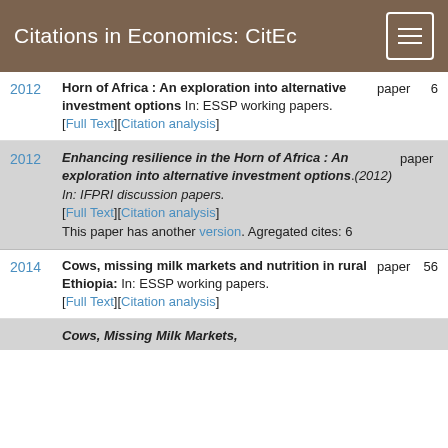Citations in Economics: CitEc
2012 | Horn of Africa : An exploration into alternative investment options In: ESSP working papers. [Full Text][Citation analysis] | paper | 6
2012 | Enhancing resilience in the Horn of Africa : An exploration into alternative investment options.(2012) In: IFPRI discussion papers. [Full Text][Citation analysis] This paper has another version. Agregated cites: 6 | paper
2014 | Cows, missing milk markets and nutrition in rural Ethiopia: In: ESSP working papers. [Full Text][Citation analysis] | paper | 56
2014 (shaded) | Cows, Missing Milk Markets,